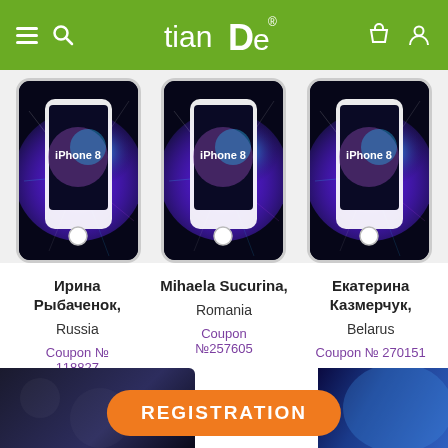[Figure (screenshot): TianDe app header with hamburger menu, search icon, TianDe logo, bag and user icons on green background]
[Figure (photo): Three iPhone 8 product images with galaxy/explosion wallpaper displayed in a row]
Ирина Рыбаченок, Russia Coupon № 118827
Mihaela Sucurina, Romania Coupon №257605
Екатерина Казмерчук, Belarus Coupon № 270151
[Figure (screenshot): Bottom registration section with REGISTRATION button in orange on rounded background, with dark photo images on left and right sides]